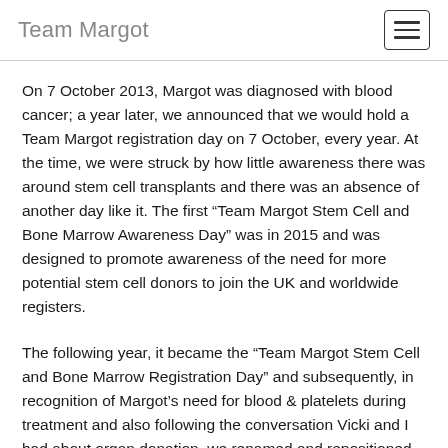Team Margot
On 7 October 2013, Margot was diagnosed with blood cancer; a year later, we announced that we would hold a Team Margot registration day on 7 October, every year. At the time, we were struck by how little awareness there was around stem cell transplants and there was an absence of another day like it. The first “Team Margot Stem Cell and Bone Marrow Awareness Day” was in 2015 and was designed to promote awareness of the need for more potential stem cell donors to join the UK and worldwide registers.
The following year, it became the “Team Margot Stem Cell and Bone Marrow Registration Day” and subsequently, in recognition of Margot’s need for blood & platelets during treatment and also following the conversation Vicki and I had about organ donation, we renamed and repositioned the day as the “Team Margot Donor Registration Day”.
Thank you for all your support.